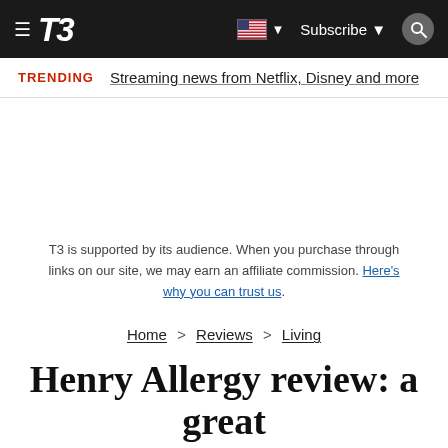T3 | Subscribe
TRENDING   Streaming news from Netflix, Disney and more
T3 is supported by its audience. When you purchase through links on our site, we may earn an affiliate commission. Here's why you can trust us.
Home > Reviews > Living
Henry Allergy review: a great